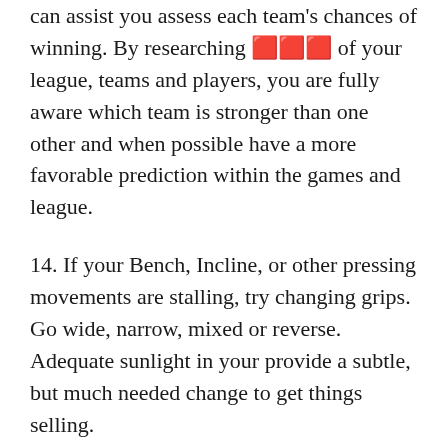can assist you assess each team's chances of winning. By researching 🔴🔴🔴 of your league, teams and players, you are fully aware which team is stronger than one other and when possible have a more favorable prediction within the games and league.
14. If your Bench, Incline, or other pressing movements are stalling, try changing grips. Go wide, narrow, mixed or reverse. Adequate sunlight in your provide a subtle, but much needed change to get things selling.
Football addiction is powerful, so keep expectations believeable. The suggestions above are just a start down a long road, but it can be a good start that can produce early results.